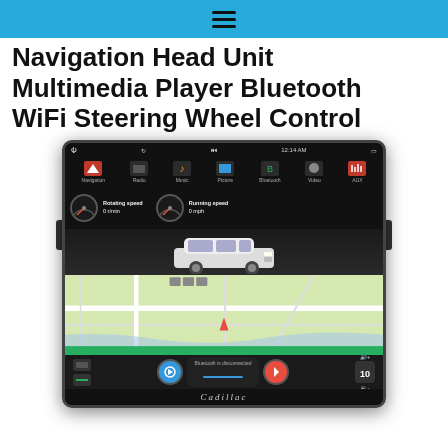☰
Navigation Head Unit Multimedia Player Bluetooth WiFi Steering Wheel Control
[Figure (photo): Product photo of a Cadillac-branded car navigation head unit multimedia player showing a vertical touchscreen with gauges, a white SUV graphic, GPS map navigation, bottom controls with Bluetooth disconnected status, and the Cadillac brand name at the bottom.]